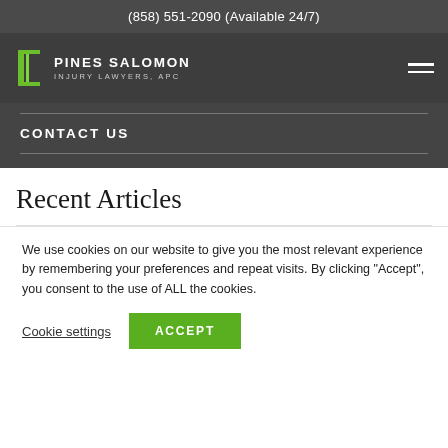(858) 551-2090 (Available 24/7)
[Figure (logo): Pines Salomon Injury Lawyers, APC logo with green pillar icon]
CONTACT US
Recent Articles
We use cookies on our website to give you the most relevant experience by remembering your preferences and repeat visits. By clicking “Accept”, you consent to the use of ALL the cookies.
Cookie settings   ACCEPT